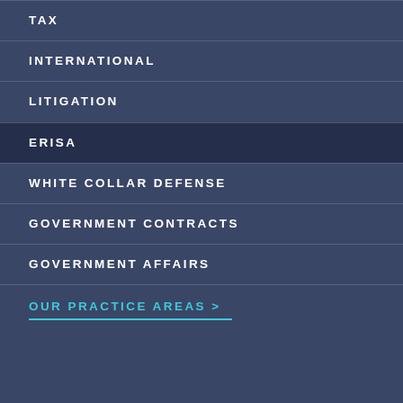TAX
INTERNATIONAL
LITIGATION
ERISA
WHITE COLLAR DEFENSE
GOVERNMENT CONTRACTS
GOVERNMENT AFFAIRS
OUR PRACTICE AREAS >